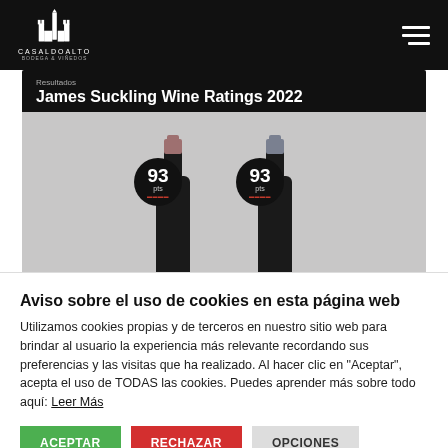CASALDOALTO
[Figure (photo): Wine bottle promotion image showing two dark wine bottles each with a score badge of 93 pts, with text 'Resultados James Suckling Wine Ratings 2022' on a black banner above them.]
Aviso sobre el uso de cookies en esta página web
Utilizamos cookies propias y de terceros en nuestro sitio web para brindar al usuario la experiencia más relevante recordando sus preferencias y las visitas que ha realizado. Al hacer clic en "Aceptar", acepta el uso de TODAS las cookies. Puedes aprender más sobre todo aquí: Leer Más
ACEPTAR
RECHAZAR
OPCIONES